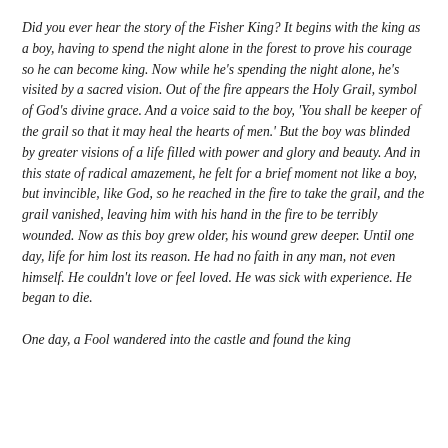Did you ever hear the story of the Fisher King? It begins with the king as a boy, having to spend the night alone in the forest to prove his courage so he can become king. Now while he's spending the night alone, he's visited by a sacred vision. Out of the fire appears the Holy Grail, symbol of God's divine grace. And a voice said to the boy, 'You shall be keeper of the grail so that it may heal the hearts of men.' But the boy was blinded by greater visions of a life filled with power and glory and beauty. And in this state of radical amazement, he felt for a brief moment not like a boy, but invincible, like God, so he reached in the fire to take the grail, and the grail vanished, leaving him with his hand in the fire to be terribly wounded. Now as this boy grew older, his wound grew deeper. Until one day, life for him lost its reason. He had no faith in any man, not even himself. He couldn't love or feel loved. He was sick with experience. He began to die.

One day, a Fool wandered into the castle and found the king